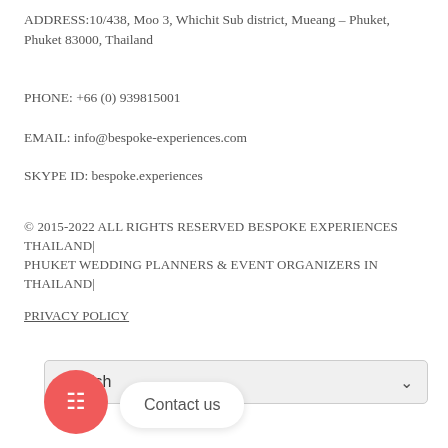ADDRESS:10/438, Moo 3, Whichit Sub district, Mueang – Phuket, Phuket 83000, Thailand
PHONE: +66 (0) 939815001
EMAIL: info@bespoke-experiences.com
SKYPE ID: bespoke.experiences
© 2015-2022 ALL RIGHTS RESERVED BESPOKE EXPERIENCES THAILAND|
PHUKET WEDDING PLANNERS & EVENT ORGANIZERS IN THAILAND|
PRIVACY POLICY
English
Contact us